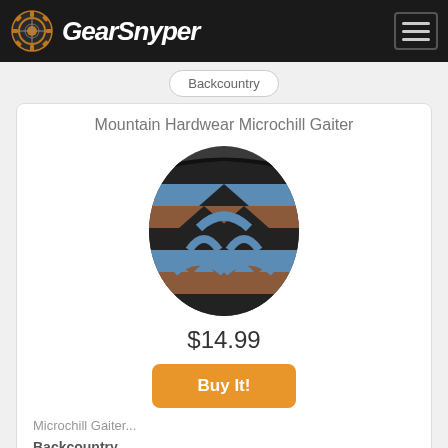GearSnyper
Backcountry
Mountain Hardwear Microchill Gaiter
[Figure (photo): Mountain Hardwear Microchill Gaiter product image — geometric patterned neck gaiter with blue, brown, and black triangles and arches on a striped background]
$14.99
Buy It!
Microchill Gaiter...
Backcountry
Patagonia Capilene Bottoms - Infant Boys'
[Figure (photo): Patagonia Capilene Bottoms - Infant Boys' product image — light teal/blue tie-dye patterned infant pants]
Sale! Save 40%